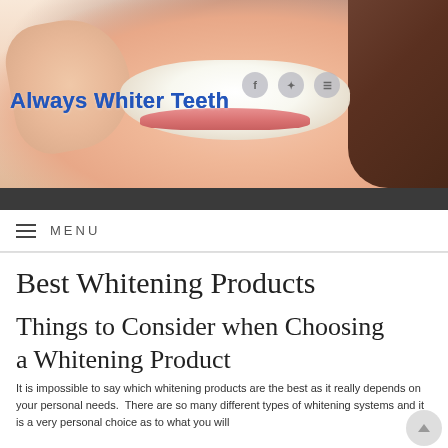[Figure (photo): Website header banner showing a woman smiling with white teeth, hand near face, dark hair on right side, and the 'Always Whiter Teeth' logo text on the left with social media icons (Facebook, Twitter, RSS) on the upper right.]
MENU
Best Whitening Products
Things to Consider when Choosing a Whitening Product
It is impossible to say which whitening products are the best as it really depends on your personal needs.  There are so many different types of whitening systems and it is a very personal choice as to what you will